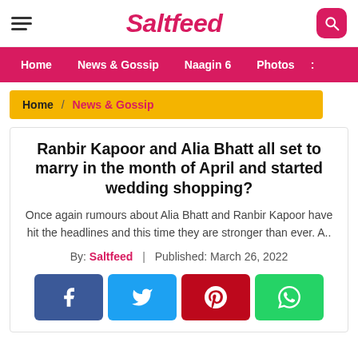Saltfeed
Home | News & Gossip | Naagin 6 | Photos
Home / News & Gossip
Ranbir Kapoor and Alia Bhatt all set to marry in the month of April and started wedding shopping?
Once again rumours about Alia Bhatt and Ranbir Kapoor have hit the headlines and this time they are stronger than ever. A..
By: Saltfeed | Published: March 26, 2022
[Figure (infographic): Social share buttons: Facebook, Twitter, Pinterest, WhatsApp]